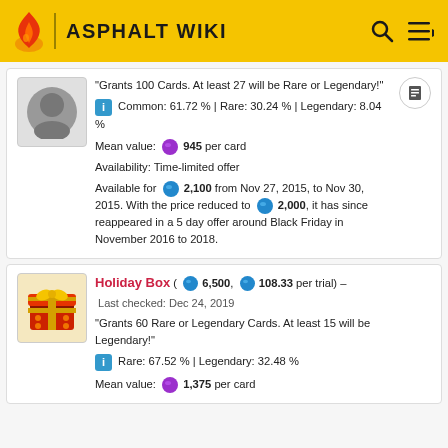ASPHALT WIKI
"Grants 100 Cards. At least 27 will be Rare or Legendary!"
Common: 61.72 % | Rare: 30.24 % | Legendary: 8.04 %
Mean value: 945 per card
Availability: Time-limited offer
Available for 2,100 from Nov 27, 2015, to Nov 30, 2015. With the price reduced to 2,000, it has since reappeared in a 5 day offer around Black Friday in November 2016 to 2018.
Holiday Box ( 6,500, 108.33 per trial) – Last checked: Dec 24, 2019
"Grants 60 Rare or Legendary Cards. At least 15 will be Legendary!"
Rare: 67.52 % | Legendary: 32.48 %
Mean value: 1,375 per card